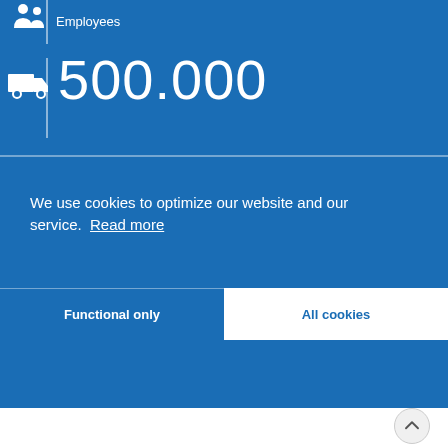Employees
500.000
We use cookies to optimize our website and our service. Read more
Functional only
All cookies